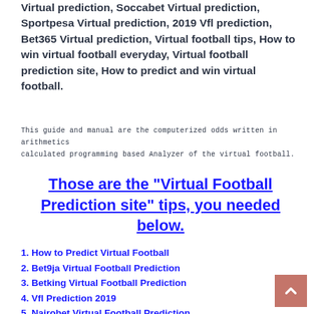Virtual prediction, Soccabet Virtual prediction, Sportpesa Virtual prediction, 2019 Vfl prediction, Bet365 Virtual prediction, Virtual football tips, How to win virtual football everyday, Virtual football prediction site, How to predict and win virtual football.
This guide and manual are the computerized odds written in arithmetics calculated programming based Analyzer of the virtual football.
Those are the "Virtual Football Prediction site" tips, you needed below.
1. How to Predict Virtual Football
2. Bet9ja Virtual Football Prediction
3. Betking Virtual Football Prediction
4. Vfl Prediction 2019
5. Nairobet Virtual Football Prediction